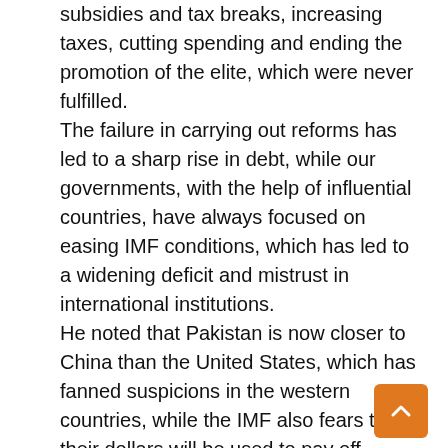subsidies and tax breaks, increasing taxes, cutting spending and ending the promotion of the elite, which were never fulfilled. The failure in carrying out reforms has led to a sharp rise in debt, while our governments, with the help of influential countries, have always focused on easing IMF conditions, which has led to a widening deficit and mistrust in international institutions. He noted that Pakistan is now closer to China than the United States, which has fanned suspicions in the western countries, while the IMF also fears that their dollars will be used to pay off Chinese debts. Mian Zahid Hussain further said that this year in April the IMF's terms were not met on the assumption that the country could be run without loans and if better results were obtained then there would be no need for the IMF. If some loans had to be taken, the terms would be lenient, but this assumption proved to be an illusion because the government was targeting success in the upcoming elections instead of financial discipline and economic